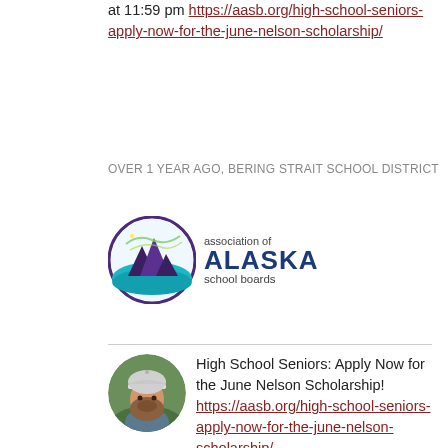at 11:59 pm https://aasb.org/high-school-seniors-apply-now-for-the-june-nelson-scholarship/
OVER 1 YEAR AGO, BERING STRAIT SCHOOL DISTRICT
[Figure (logo): Association of Alaska School Boards logo — circular emblem with mountains and aurora, text reads 'association of ALASKA school boards']
High School Seniors: Apply Now for the June Nelson Scholarship! https://aasb.org/high-school-seniors-apply-now-for-the-june-nelson-scholarship/ Apply for AASB's 30th Annual June Nelson Scholarship Competition! Winners receive a $1,500 Scholarship. Application Deadline: Monday, March 8, 2021 at 11:59 pm The Association of Alaska School Boards is proud to announce its 30th Annual Scholarship Award Competition. The June Nelson Memorial